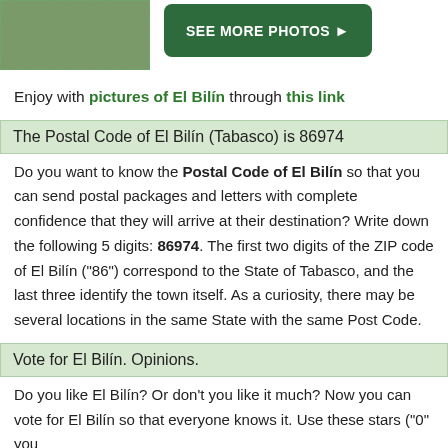[Figure (photo): Partial photo of a rural/field scene with a fence post, with a green 'SEE MORE PHOTOS ►' button to the right]
Enjoy with pictures of El Bilín through this link
The Postal Code of El Bilín (Tabasco) is 86974
Do you want to know the Postal Code of El Bilín so that you can send postal packages and letters with complete confidence that they will arrive at their destination? Write down the following 5 digits: 86974. The first two digits of the ZIP code of El Bilín ("86") correspond to the State of Tabasco, and the last three identify the town itself. As a curiosity, there may be several locations in the same State with the same Post Code.
Vote for El Bilín. Opinions.
Do you like El Bilín? Or don't you like it much? Now you can vote for El Bilín so that everyone knows it. Use these stars ("0" you